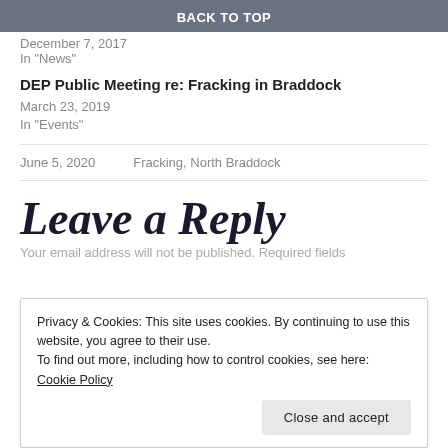BACK TO TOP
December 7, 2017
In "News"
DEP Public Meeting re: Fracking in Braddock
March 23, 2019
In "Events"
June 5, 2020    Fracking, North Braddock
Leave a Reply
Your email address will not be published. Required fields
Privacy & Cookies: This site uses cookies. By continuing to use this website, you agree to their use.
To find out more, including how to control cookies, see here: Cookie Policy
Close and accept